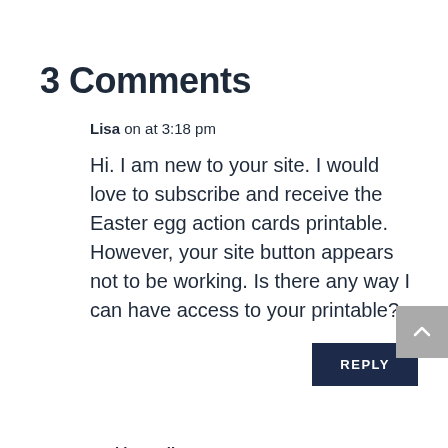3 Comments
Lisa on at 3:18 pm
Hi. I am new to your site. I would love to subscribe and receive the Easter egg action cards printable. However, your site button appears not to be working. Is there any way I can have access to your printable?
REPLY
Jackie Merlino on at 5:12 am
There must be a problem as the link